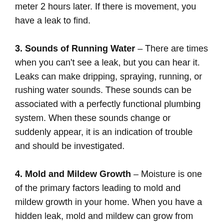meter 2 hours later. If there is movement, you have a leak to find.
3. Sounds of Running Water – There are times when you can't see a leak, but you can hear it. Leaks can make dripping, spraying, running, or rushing water sounds. These sounds can be associated with a perfectly functional plumbing system. When these sounds change or suddenly appear, it is an indication of trouble and should be investigated.
4. Mold and Mildew Growth – Moisture is one of the primary factors leading to mold and mildew growth in your home. When you have a hidden leak, mold and mildew can grow from saturated wood, drywall, carpeting, etc… These areas should be among the first to be investigated when looking for the leak.